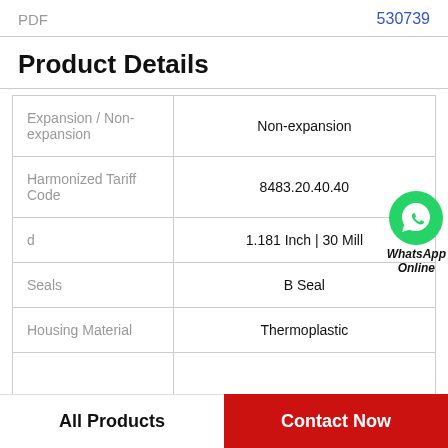PDF  530739
Product Details
|  |  |
| --- | --- |
| Expansion / Non-expansion | Non-expansion |
| Harmonized Tariff Code | 8483.20.40.40 |
| d | 1.181 Inch | 30 Mill |
| Seals | B Seal |
| Housing Material | Thermoplastic |
|  |  |
[Figure (logo): WhatsApp Online green circle logo with phone icon and text 'WhatsApp Online']
All Products
Contact Now